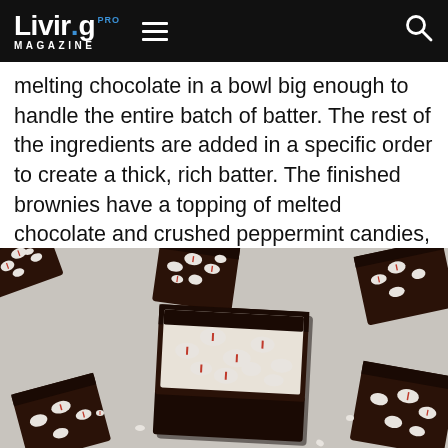Living Pro Magazine
melting chocolate in a bowl big enough to handle the entire batch of batter. The rest of the ingredients are added in a specific order to create a thick, rich batter. The finished brownies have a topping of melted chocolate and crushed peppermint candies, the perfect complement to the brownie itself.
[Figure (photo): Overhead view of multiple chocolate brownies topped with crushed white and red peppermint candies, scattered on a light surface.]